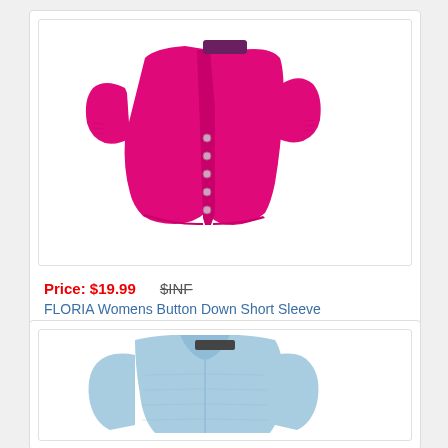[Figure (photo): Hot pink women's button-down short sleeve cropped cardigan sweater on white background]
Price: $19.99   $INF
FLORIA Womens Button Down Short Sleeve
[Figure (photo): Light blue women's cardigan sweater on white background, partially visible]